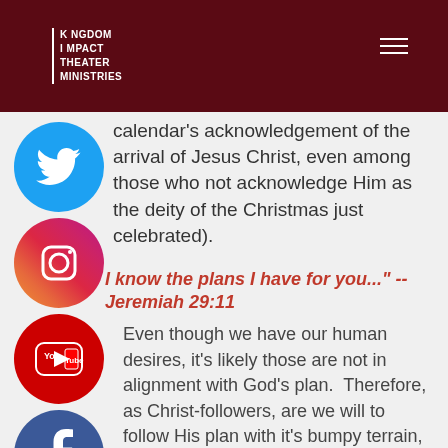KINGDOM IMPACT THEATER MINISTRIES
calendar's acknowledgement of the arrival of Jesus Christ, even among those who not acknowledge Him as the deity of the Christmas just celebrated).
"I know the plans I have for you..." -- Jeremiah 29:11
Even though we have our human desires, it's likely those are not in alignment with God's plan. Therefore, as Christ-followers, are we will to follow His plan with it's bumpy terrain, or use this verse as self-anointing of plans we've already chosen?